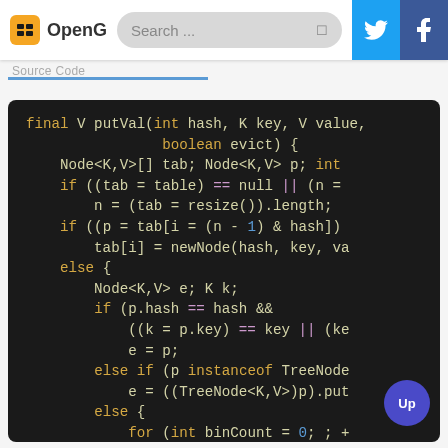OpenG | Search ...
Source Code
[Figure (screenshot): Code screenshot showing Java HashMap putVal method implementation with syntax highlighting on dark background. Code includes: final V putVal(int hash, K key, V value, boolean evict) { Node<K,V>[] tab; Node<K,V> p; int if ((tab = table) == null || (n = n = (tab = resize()).length; if ((p = tab[i = (n - 1) & hash]) tab[i] = newNode(hash, key, va else { Node<K,V> e; K k; if (p.hash == hash && ((k = p.key) == key || (ke e = p; else if (p instanceof TreeNode e = ((TreeNode<K,V>)p).put else { for (int binCount = 0; ; + if ((e = p.next) == nu]